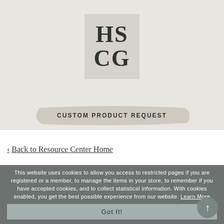[Figure (logo): HSCG logo — grey box with large bold letters HS above CG]
[Figure (infographic): Navigation bar with JOIN, LOGIN, hamburger menu, and cart icon with 0 badge]
[Figure (infographic): CUSTOM PRODUCT REQUEST button with brushstroke background]
< Back to Resource Center Home
This website uses cookies to allow you access to restricted pages if you are registered or a member, to manage the items in your store, to remember if you have accepted cookies, and to collect statistical information. With cookies enabled, you get the best possible experience from our website. Learn More
Got It!